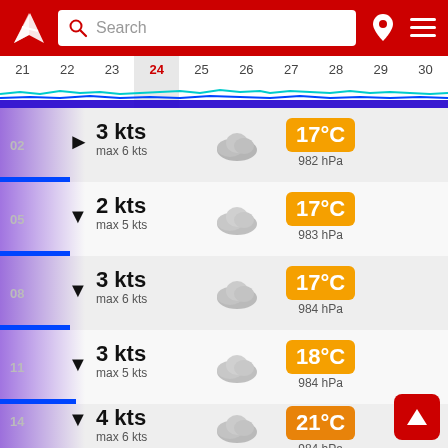[Figure (screenshot): App header with red background, white logo (windsock-style), search bar, pin icon, and hamburger menu]
Search
21 22 23 24 25 26 27 28 29 30
[Figure (continuous-plot): Sparkline chart showing wave/wind data across dates with cyan and blue lines]
02  3 kts  max 6 kts  17°C  982 hPa
05  2 kts  max 5 kts  17°C  983 hPa
08  3 kts  max 6 kts  17°C  984 hPa
11  3 kts  max 5 kts  18°C  984 hPa
14  4 kts  max 6 kts  21°C  984 hPa